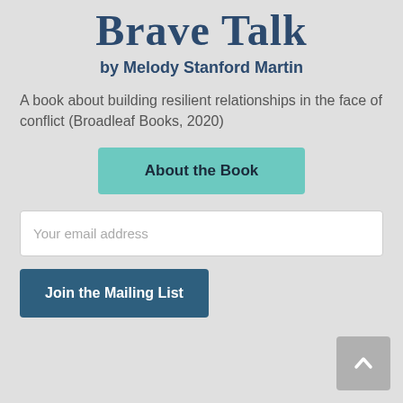Brave Talk
by Melody Stanford Martin
A book about building resilient relationships in the face of conflict (Broadleaf Books, 2020)
About the Book
Your email address
Join the Mailing List